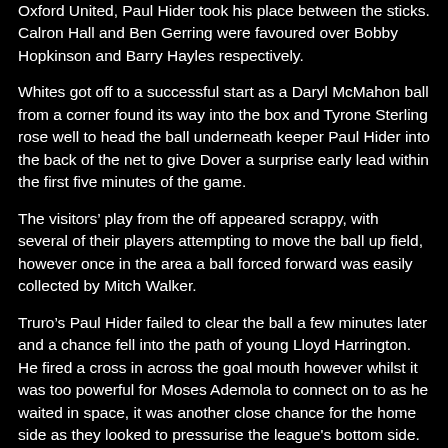Oxford United, Paul Hider took his place between the sticks. Calron Hall and Ben Gerring were favoured over Bobby Hopkinson and Barry Hayles respectively.
Whites got off to a successful start as a Daryl McMahon ball from a corner found its way into the box and Tyrone Sterling rose well to head the ball underneath keeper Paul Hider into the back of the net to give Dover a surprise early lead within the first five minutes of the game.
The visitors’ play from the off appeared scrappy, with several of their players attempting to move the ball up field, however once in the area a ball forced forward was easily collected by Mitch Walker.
Truro’s Paul Hider failed to clear the ball a few minutes later and a chance fell into the path of young Lloyd Harrington. He fired a cross in across the goal mouth however whilst it was too powerful for Moses Ademola to connect on to as he waited in space, it was another close chance for the home side as they looked to pressurise the league's bottom side.